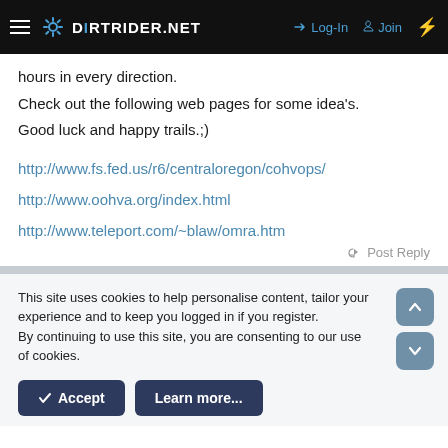DIRTRIDER.NET  →  Log-In  Join
hours in every direction.
Check out the following web pages for some idea's.
Good luck and happy trails.;)
http://www.fs.fed.us/r6/centraloregon/cohvops/
http://www.oohva.org/index.html
http://www.teleport.com/~blaw/omra.htm
Post Reply
This site uses cookies to help personalise content, tailor your experience and to keep you logged in if you register.
By continuing to use this site, you are consenting to our use of cookies.
Accept
Learn more...